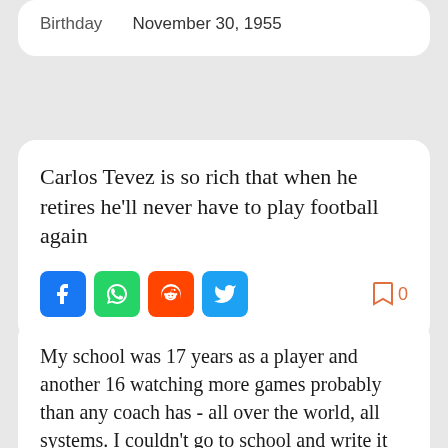Birthday    November 30, 1955
Carlos Tevez is so rich that when he retires he'll never have to play football again
0
My school was 17 years as a player and another 16 watching more games probably than any coach has - all over the world, all systems. I couldn't go to school and write it down for people who are far less